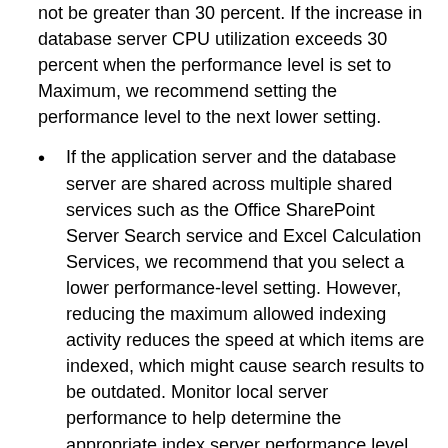not be greater than 30 percent. If the increase in database server CPU utilization exceeds 30 percent when the performance level is set to Maximum, we recommend setting the performance level to the next lower setting.
If the application server and the database server are shared across multiple shared services such as the Office SharePoint Server Search service and Excel Calculation Services, we recommend that you select a lower performance-level setting. However, reducing the maximum allowed indexing activity reduces the speed at which items are indexed, which might cause search results to be outdated. Monitor local server performance to help determine the appropriate index server performance level.
Use the following procedure to specify the performance-level setting on the index server.